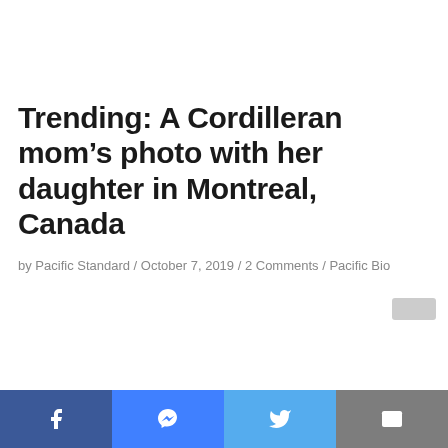Trending: A Cordilleran mom's photo with her daughter in Montreal, Canada
by Pacific Standard / October 7, 2019 / 2 Comments / Pacific Bio